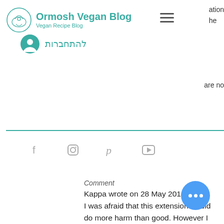Ormosh Vegan Blog — Vegan Recipe Blog
להתחברות
Comment
Kappa wrote on 28 May 2016:
I was afraid that this extension would do more harm than good. However I was very surprised to see how much power this extension has. It allows you to set the background image for each website and even the text color and fonts. I tested it by modifying each and every website of my bookmarks bar. The change took a little time for the page to load, but when it did, the result was an overall better looking pag
User reviews
User rating